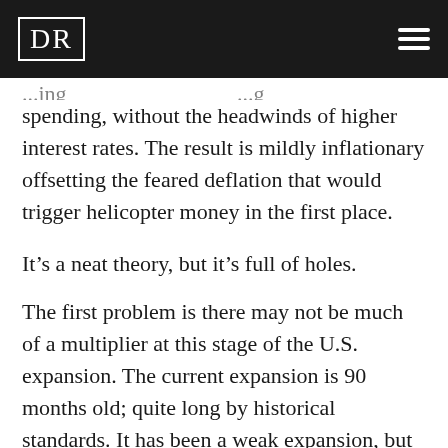DR
spending, without the headwinds of higher interest rates. The result is mildly inflationary offsetting the feared deflation that would trigger helicopter money in the first place.
It’s a neat theory, but it’s full of holes.
The first problem is there may not be much of a multiplier at this stage of the U.S. expansion. The current expansion is 90 months old; quite long by historical standards. It has been a weak expansion, but an expansion nonetheless. The multiplier effect of government spending is strongest at the beginning of an expansion when the economy has more spare